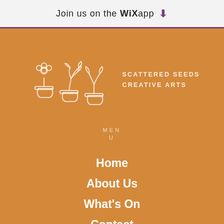Join us on the WiX app ⬇
[Figure (logo): Scattered Seeds Creative Arts logo: three outlined potted plants in white line art on orange background, with text SCATTERED SEEDS CREATIVE ARTS to the right]
MENU
Home
About Us
What's On
Contact